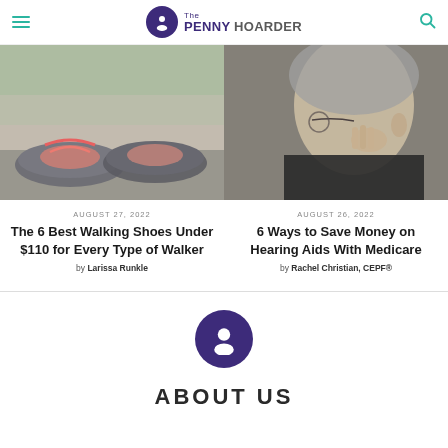The PENNY HOARDER
[Figure (photo): Close-up photo of someone tying pink/coral sneakers on pavement]
[Figure (photo): Elderly man putting in a hearing aid, wearing glasses and dark jacket]
AUGUST 27, 2022
The 6 Best Walking Shoes Under $110 for Every Type of Walker
by Larissa Runkle
AUGUST 26, 2022
6 Ways to Save Money on Hearing Aids With Medicare
by Rachel Christian, CEPF®
[Figure (logo): The Penny Hoarder logo circle with silhouette figure, purple background]
ABOUT US